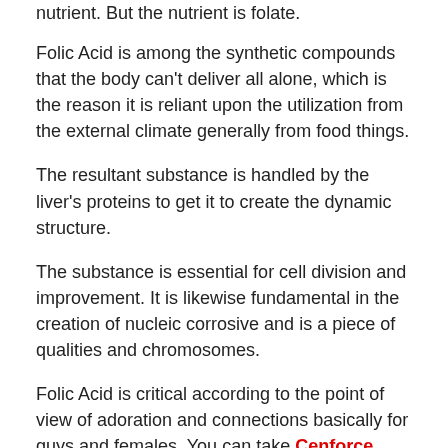nutrient. But the nutrient is folate.
Folic Acid is among the synthetic compounds that the body can't deliver all alone, which is the reason it is reliant upon the utilization from the external climate generally from food things.
The resultant substance is handled by the liver's proteins to get it to create the dynamic structure.
The substance is essential for cell division and improvement. It is likewise fundamental in the creation of nucleic corrosive and is a piece of qualities and chromosomes.
Folic Acid is critical according to the point of view of adoration and connections basically for guys and females. You can take Cenforce 100mg or Fildena 150mg to work on the nature of affection, particularly during pregnancy. A